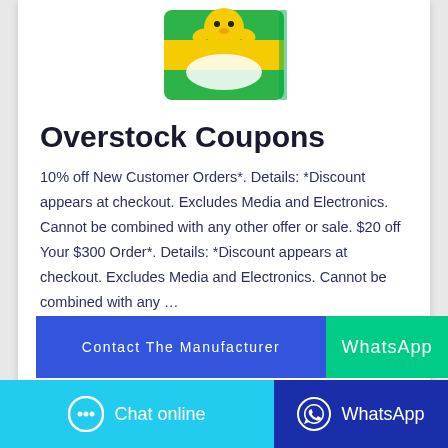[Figure (photo): Product image of a Pampers or similar baby diaper box with a cartoon chick character, partially visible at top of card]
Overstock Coupons
10% off New Customer Orders*. Details: *Discount appears at checkout. Excludes Media and Electronics. Cannot be combined with any other offer or sale. $20 off Your $300 Order*. Details: *Discount appears at checkout. Excludes Media and Electronics. Cannot be combined with any …
Contact The Manufacturer
WhatsApp
Chat online
WhatsApp